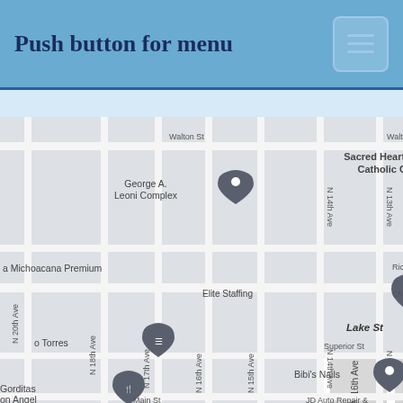Push button for menu
[Figure (map): Google Maps screenshot showing a street grid in what appears to be an urban neighborhood. Visible landmarks include Sacred Heart of Jesus Catholic Church, George A. Leoni Complex, Elite Staffing, Bibi's Nails, Gorditas on Angel, JD Auto Repair. Streets visible include Walton St, Rice St, Chicago Ave, Lake St, Superior St, Main St. Avenue labels include N 13th Ave, N 14th Ave, N 15th Ave, N 16th Ave, N 17th Ave, N 18th Ave, N 20th Ave. A map pin labeled AJL is visible near N 14th Ave. A shopping cart pin near o Torres and a restaurant pin near Gorditas on Angel.]